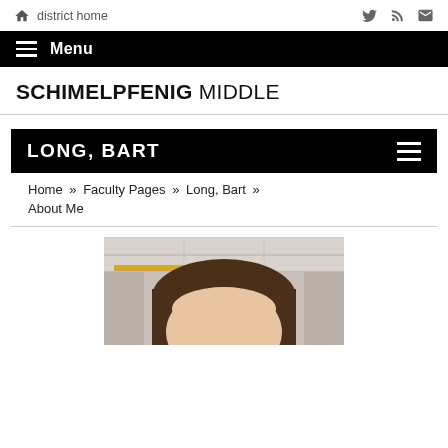🏠 district home
Menu
SCHIMELPFENIG MIDDLE
LONG, BART
Home » Faculty Pages » Long, Bart » About Me
[Figure (photo): Headshot photo of Bart Long, showing top of head with brown hair, forehead, and ceiling tiles with a pencil resting in background]